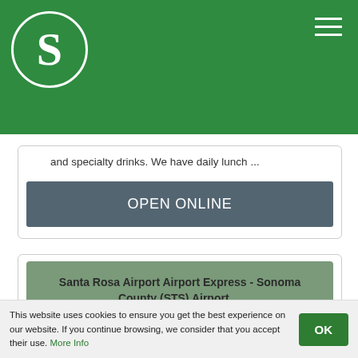S (logo) - green header with hamburger menu
and specialty drinks. We have daily lunch ...
OPEN ONLINE
Santa Rosa Airport Airport Express - Sonoma County (STS) Airport ...
Airport Express provides daily shuttle rides from Sonoma County Airport to San ... the bus, the one shall keep in mind that no debit or credit cards will be taken, only cash ... The Pick-up and Drop-off of the passengers are done directly
This website uses cookies to ensure you get the best experience on our website. If you continue browsing, we consider that you accept their use. More Info
OK